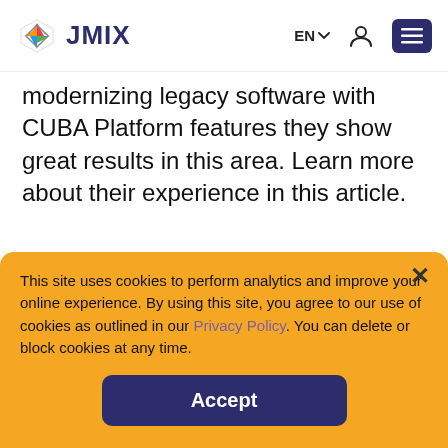JMIX | EN | (user icon) | (menu icon)
modernizing legacy software with CUBA Platform features they show great results in this area. Learn more about their experience in this article.
[Figure (illustration): Horizontal divider lines with a large gray closing quotation mark in the center]
This site uses cookies to perform analytics and improve your online experience. By using this site, you agree to our use of cookies as outlined in our Privacy Policy. You can delete or block cookies at any time.
Accept